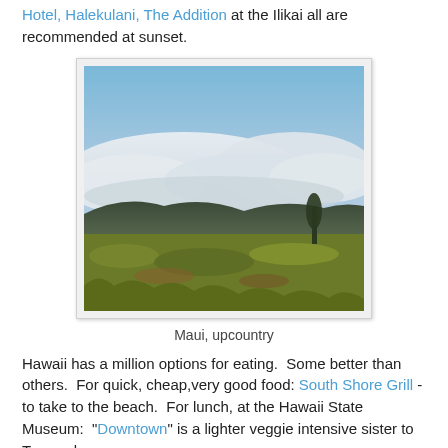Hotel, Halekulani, The Addition at the Ilikai all are recommended at sunset.
[Figure (photo): Landscape photograph of Maui upcountry showing green shrubby vegetation in the foreground, dark hills in the middle distance, and a dramatic cloudy sky with blue sky visible above the clouds.]
Maui, upcountry
Hawaii has a million options for eating.  Some better than others.  For quick, cheap,very good food: South Shore Grill - to take to the beach.  For lunch, at the Hawaii State Museum:  "Downtown" is a lighter veggie intensive sister to Town, above.
The classic Hawaiian lunch is what we call "saimin".  It's